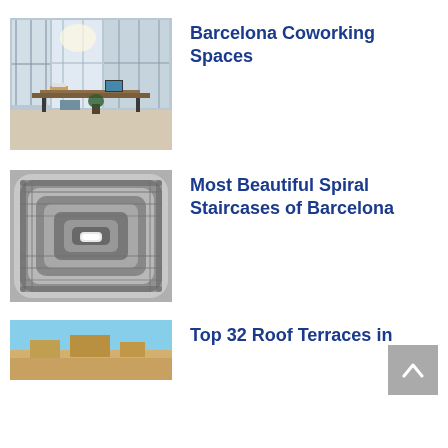[Figure (photo): Interior of a coworking space with industrial style, large windows, desks and office equipment]
Barcelona Coworking Spaces
[Figure (photo): Aerial view of a spiral staircase in black and white]
Most Beautiful Spiral Staircases of Barcelona
[Figure (photo): Partial view of a rooftop terrace with blue sky]
Top 32 Roof Terraces in